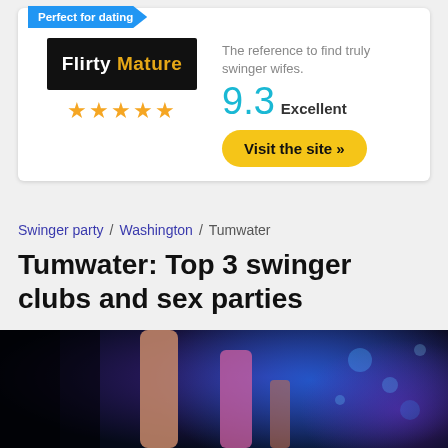[Figure (other): Advertisement card for Flirty Mature dating site with logo, 5 stars, score 9.3 Excellent, tagline, and Visit the site button]
Swinger party / Washington / Tumwater
Tumwater: Top 3 swinger clubs and sex parties
[Figure (photo): Photo of people at a nightclub with blue and purple lighting]